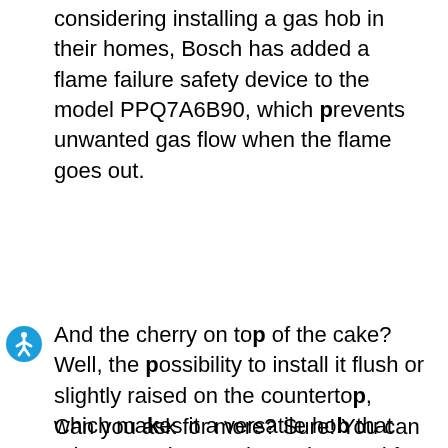considering installing a gas hob in their homes, Bosch has added a flame failure safety device to the model PPQ7A6B90, which prevents unwanted gas flow when the flame goes out.
And the cherry on top of the cake? Well, the possibility to install it flush or slightly raised on the countertop, which makes it a versatile hob that adapts to what you have dreamed for your kitchen.
Can you ask for more?  Sure!  You can wish to